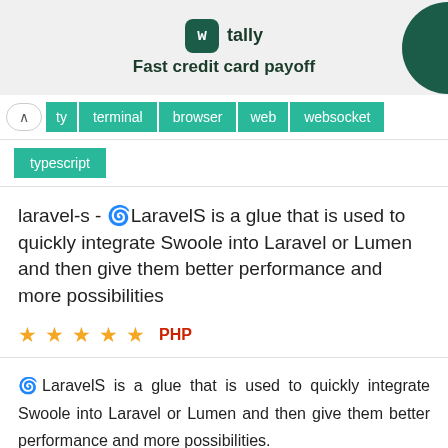[Figure (logo): Tally app logo with text 'Fast credit card payoff' advertisement banner]
ty  terminal  browser  web  websocket
typescript
laravel-s - 🌀LaravelS is a glue that is used to quickly integrate Swoole into Laravel or Lumen and then give them better performance and more possibilities
★★★★★  PHP
🌀LaravelS is a glue that is used to quickly integrate Swoole into Laravel or Lumen and then give them better performance and more possibilities.
swoole  laravel  lumen  async  corountine